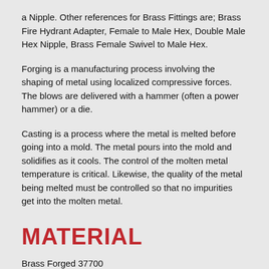a Nipple. Other references for Brass Fittings are; Brass Fire Hydrant Adapter, Female to Male Hex, Double Male Hex Nipple, Brass Female Swivel to Male Hex.
Forging is a manufacturing process involving the shaping of metal using localized compressive forces. The blows are delivered with a hammer (often a power hammer) or a die.
Casting is a process where the metal is melted before going into a mold. The metal pours into the mold and solidifies as it cools. The control of the molten metal temperature is critical. Likewise, the quality of the metal being melted must be controlled so that no impurities get into the molten metal.
MATERIAL
Brass Forged 37700